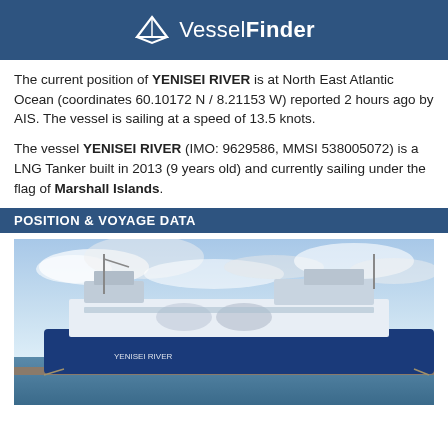VesselFinder
The current position of YENISEI RIVER is at North East Atlantic Ocean (coordinates 60.10172 N / 8.21153 W) reported 2 hours ago by AIS. The vessel is sailing at a speed of 13.5 knots.
The vessel YENISEI RIVER (IMO: 9629586, MMSI 538005072) is a LNG Tanker built in 2013 (9 years old) and currently sailing under the flag of Marshall Islands.
POSITION & VOYAGE DATA
[Figure (photo): Photo of the LNG Tanker vessel YENISEI RIVER docked at port, showing a large blue and white ship with industrial structures on deck, under a partly cloudy sky.]